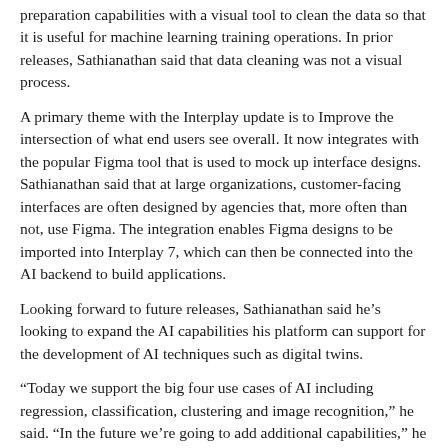preparation capabilities with a visual tool to clean the data so that it is useful for machine learning training operations. In prior releases, Sathianathan said that data cleaning was not a visual process.
A primary theme with the Interplay update is to Improve the intersection of what end users see overall. It now integrates with the popular Figma tool that is used to mock up interface designs. Sathianathan said that at large organizations, customer-facing interfaces are often designed by agencies that, more often than not, use Figma. The integration enables Figma designs to be imported into Interplay 7, which can then be connected into the AI backend to build applications.
Looking forward to future releases, Sathianathan said he’s looking to expand the AI capabilities his platform can support for the development of AI techniques such as digital twins.
“Today we support the big four use cases of AI including regression, classification, clustering and image recognition,” he said. “In the future we’re going to add additional capabilities,” he said.
VentureBeat’s mission is to be a digital town square for technical decision-makers to gain knowledge about transformative enterprise technology and transact. Learn more about membership.